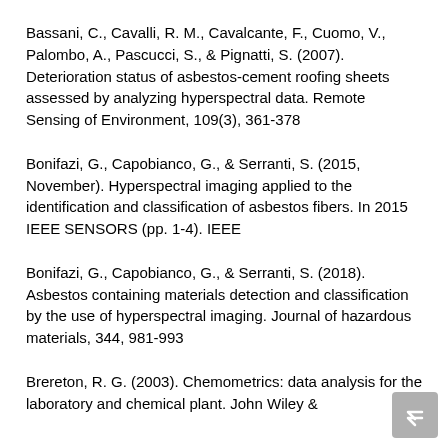Bassani, C., Cavalli, R. M., Cavalcante, F., Cuomo, V., Palombo, A., Pascucci, S., & Pignatti, S. (2007). Deterioration status of asbestos-cement roofing sheets assessed by analyzing hyperspectral data. Remote Sensing of Environment, 109(3), 361-378
Bonifazi, G., Capobianco, G., & Serranti, S. (2015, November). Hyperspectral imaging applied to the identification and classification of asbestos fibers. In 2015 IEEE SENSORS (pp. 1-4). IEEE
Bonifazi, G., Capobianco, G., & Serranti, S. (2018). Asbestos containing materials detection and classification by the use of hyperspectral imaging. Journal of hazardous materials, 344, 981-993
Brereton, R. G. (2003). Chemometrics: data analysis for the laboratory and chemical plant. John Wiley &